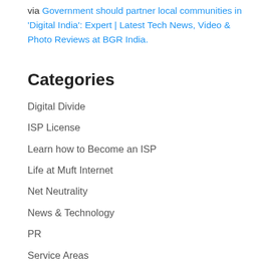via Government should partner local communities in 'Digital India': Expert | Latest Tech News, Video & Photo Reviews at BGR India.
Categories
Digital Divide
ISP License
Learn how to Become an ISP
Life at Muft Internet
Net Neutrality
News & Technology
PR
Service Areas
Uncategorized